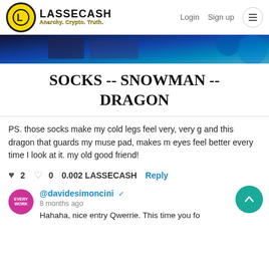LASSECASH — Anarchy. Crypto. Truth. | Login | Sign up
[Figure (photo): Dark blue abstract image, partially visible at top of content area]
SOCKS -- SNOWMAN -- DRAGON
PS. those socks make my cold legs feel very, very g and this dragon that guards my muse pad, makes m eyes feel better every time I look at it. my old good friend!
♥ 2  ♡ 0  0.002 LASSECASH  Reply
@davidesimoncini ✓
8 months ago
Hahaha, nice entry Qwerrie. This time you fo